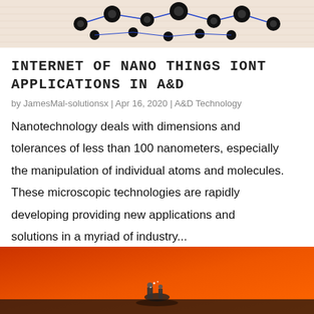[Figure (photo): Close-up image of molecular/nanotechnology structure with black spheres connected by blue lines on a pink/beige textured background]
INTERNET OF NANO THINGS IONT APPLICATIONS IN A&D
by JamesMal-solutionsx | Apr 16, 2020 | A&D Technology
Nanotechnology deals with dimensions and tolerances of less than 100 nanometers, especially the manipulation of individual atoms and molecules. These microscopic technologies are rapidly developing providing new applications and solutions in a myriad of industry...
[Figure (photo): Orange/red background with small robotic or mechanical device visible at the bottom]